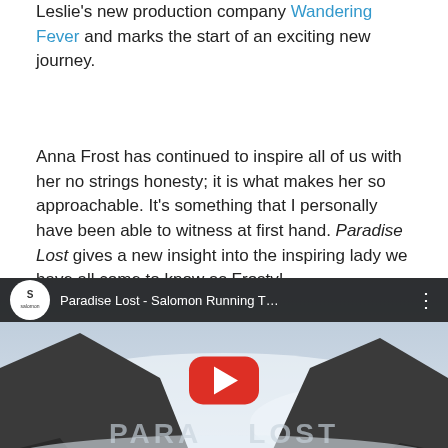Leslie's new production company Wandering Fever and marks the start of an exciting new journey.
Anna Frost has continued to inspire all of us with her no strings honesty; it is what makes her so approachable. It's something that I personally have been able to witness at first hand. Paradise Lost gives a new insight into the inspiring lady we have all come to know as Frosty!
Enjoy this wonderful movie
[Figure (screenshot): Embedded YouTube video thumbnail showing 'Paradise Lost - Salomon Running T...' with Salomon logo, mountain/cloud landscape background, red YouTube play button, and text overlay 'PARA LOST']